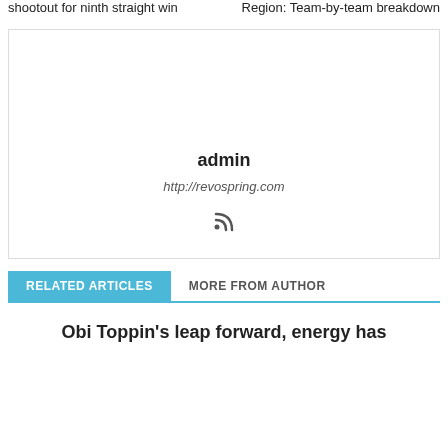shootout for ninth straight win
Region: Team-by-team breakdown
[Figure (other): Author box with admin name, URL http://revospring.com, and RSS feed icon]
admin
http://revospring.com
RELATED ARTICLES
MORE FROM AUTHOR
Obi Toppin's leap forward, energy has